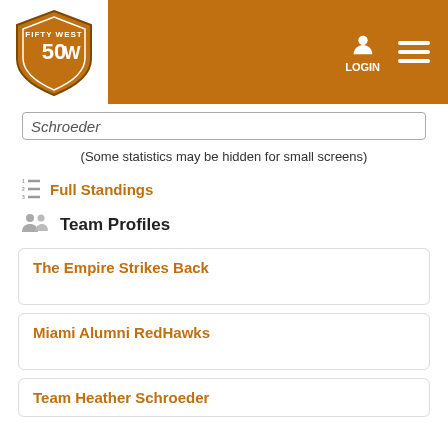FiftyWest navigation bar with logo, LOGIN, and menu
Schroeder (Some statistics may be hidden for small screens)
Full Standings
Team Profiles
The Empire Strikes Back
Miami Alumni RedHawks
Team Heather Schroeder